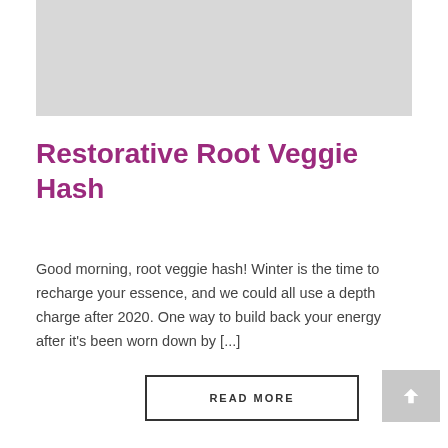[Figure (other): Gray placeholder image at top of page]
Restorative Root Veggie Hash
Good morning, root veggie hash! Winter is the time to recharge your essence, and we could all use a depth charge after 2020. One way to build back your energy after it's been worn down by [...]
READ MORE